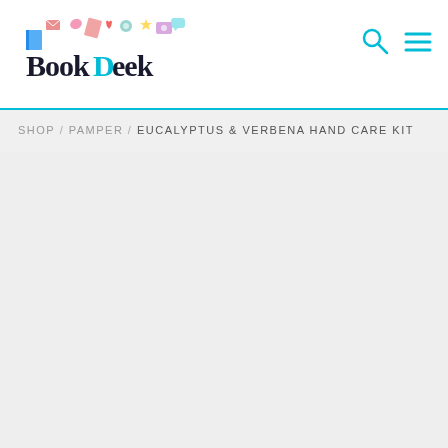BookGeek
SHOP / PAMPER / EUCALYPTUS & VERBENA HAND CARE KIT